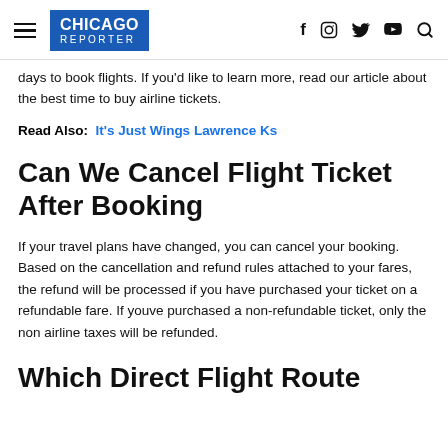CHICAGO REPORTER
days to book flights. If you'd like to learn more, read our article about the best time to buy airline tickets.
Read Also:  It's Just Wings Lawrence Ks
Can We Cancel Flight Ticket After Booking
If your travel plans have changed, you can cancel your booking. Based on the cancellation and refund rules attached to your fares, the refund will be processed if you have purchased your ticket on a refundable fare. If youve purchased a non-refundable ticket, only the non airline taxes will be refunded.
Which Direct Flight Route